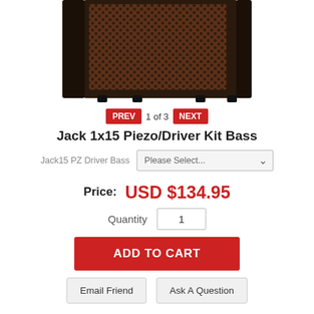[Figure (photo): Photo of Jack 1x15 Piezo/Driver Kit Bass speaker cabinet — dark brown/black enclosure with honeycomb metal grille]
PREV  1 of 3  NEXT
Jack 1x15 Piezo/Driver Kit Bass
Jack15 PZ Driver Bass   Please Select...
Price:  USD $134.95
Quantity  1
ADD TO CART
Email Friend
Ask A Question